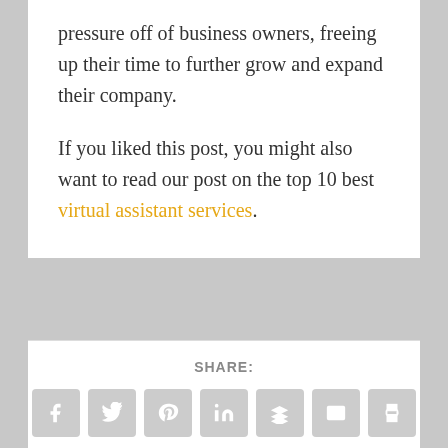pressure off of business owners, freeing up their time to further grow and expand their company.
If you liked this post, you might also want to read our post on the top 10 best virtual assistant services.
SHARE: